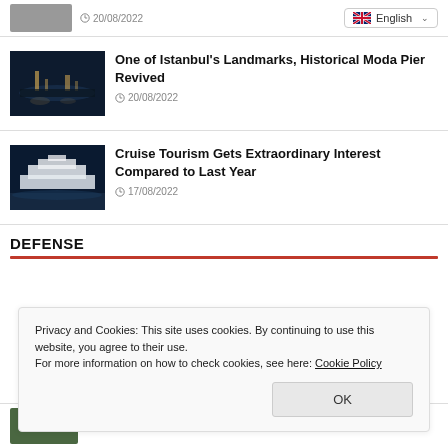[Figure (photo): Small thumbnail photo, top left, partially cropped]
20/08/2022
English (language selector dropdown)
[Figure (photo): Night photo of Istanbul harbour, city lights reflected on water]
One of Istanbul's Landmarks, Historical Moda Pier Revived
20/08/2022
[Figure (photo): Aerial/night photo of a large cruise ship at sea]
Cruise Tourism Gets Extraordinary Interest Compared to Last Year
17/08/2022
DEFENSE
Privacy and Cookies: This site uses cookies. By continuing to use this website, you agree to their use.
For more information on how to check cookies, see here: Cookie Policy
OK
[Figure (photo): Green vegetation/forest thumbnail at bottom]
Blockaded